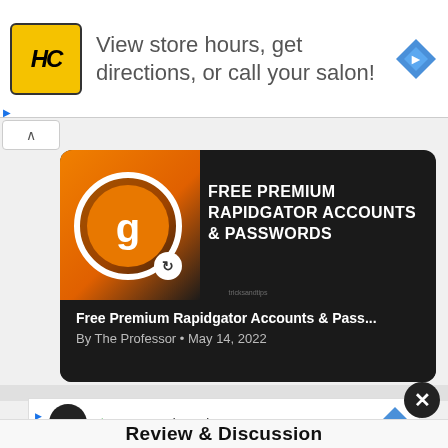[Figure (screenshot): Advertisement banner with HC (Hair Club) logo and text: View store hours, get directions, or call your salon! with a blue navigation diamond icon on the right.]
[Figure (screenshot): Article card for 'Free Premium Rapidgator Accounts & Pass...' by The Professor, May 14, 2022, with Rapidgator branding on dark background with orange accent.]
Free Premium Rapidgator Accounts & Pass...
By The Professor • May 14, 2022
[Figure (screenshot): Bottom advertisement with infinity logo icon, checkmark, and text: In-store shopping, with blue navigation diamond.]
Review & Discussion